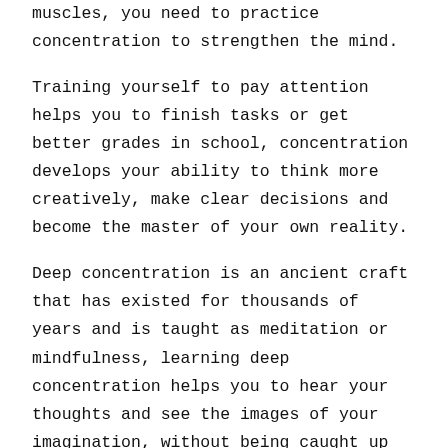muscles, you need to practice concentration to strengthen the mind.
Training yourself to pay attention helps you to finish tasks or get better grades in school, concentration develops your ability to think more creatively, make clear decisions and become the master of your own reality.
Deep concentration is an ancient craft that has existed for thousands of years and is taught as meditation or mindfulness, learning deep concentration helps you to hear your thoughts and see the images of your imagination, without being caught up in it. This skill of observing your own mind offers you the power to change your mind as you learn to navigate it in the direction you want it to go.
Developing strong concentration not only makes you more